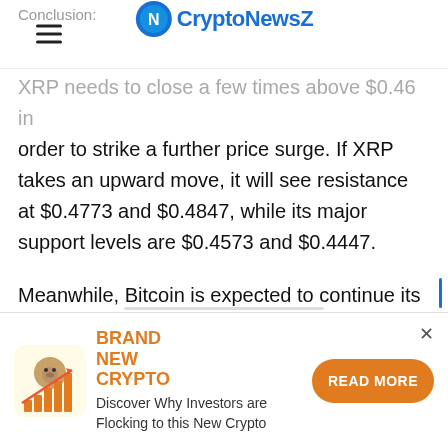CryptoNewsZ
Conclusion:
XRP needs to close a few times above $0.46 in order to strike a further price surge. If XRP takes an upward move, it will see resistance at $0.4773 and $0.4847, while its major support levels are $0.4573 and $0.4447.
Meanwhile, Bitcoin is expected to continue its Bull Run, though it will face resistance at $11,181.19 and $11,351.28, and its possible support levels can be at $10,725.72 and $10,440.34.
[Figure (infographic): Advertisement banner: BRAND NEW CRYPTO with bear/bull icon and chart graphic. Text: Discover Why Investors are Flocking to this New Crypto. READ MORE button in orange.]